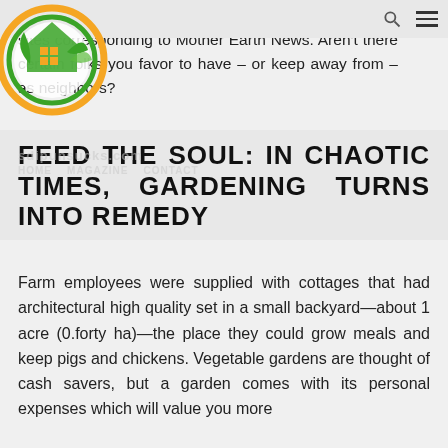are broadly obtainable for free on the Internet at web sites corresponding to Mother Earth News. Aren't there certain folks you favor to have – or keep away from – as neighbors?
[Figure (logo): Circular logo with orange outer ring, green inner ring, a house icon with grid windows, and green leaf shapes. Text 'sdipunsucks.com' appears as watermark.]
FEED THE SOUL: IN CHAOTIC TIMES, GARDENING TURNS INTO REMEDY
Farm employees were supplied with cottages that had architectural high quality set in a small backyard—about 1 acre (0.forty ha)—the place they could grow meals and keep pigs and chickens. Vegetable gardens are thought of cash savers, but a garden comes with its personal expenses which will value you more